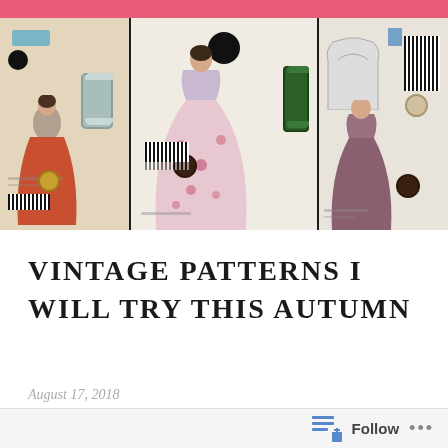[Figure (photo): Three vintage sewing pattern envelopes arranged side by side on a dark background, with sewing accessories including thread spools (grey and green), buttons, and a brooch. The patterns show 1950s-style dress illustrations with full skirts.]
VINTAGE PATTERNS I WILL TRY THIS AUTUMN
August 17, 2018
Follow ...